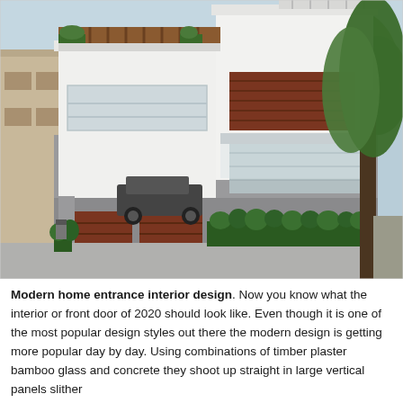[Figure (photo): Exterior photograph of a modern multi-storey residential house with white plaster facade, brown timber gate and accent panels, glass balustrades, balcony with wooden railing, parked car in garage area, lush green trees on right side, neighboring buildings on left.]
Modern home entrance interior design. Now you know what the interior or front door of 2020 should look like. Even though it is one of the most popular design styles out there the modern design is getting more popular day by day. Using combinations of timber plaster bamboo glass and concrete they shoot up straight in large vertical panels slither